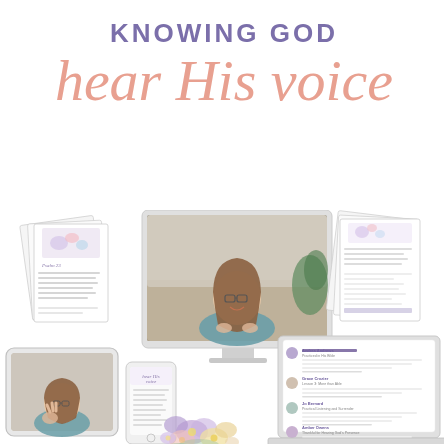KNOWING GOD
hear His voice
[Figure (illustration): Product mockup collage showing a desktop monitor with a woman presenter on screen, an iPad with video, a smartphone, printed worksheet pages, document pages, a laptop showing a community comment feed, and watercolor flowers at the bottom center. Represents an online course called 'Knowing God – hear His voice'.]